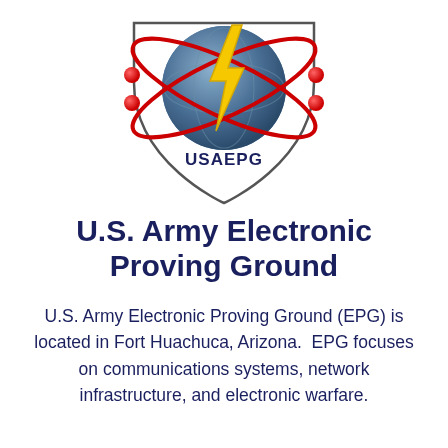[Figure (logo): USAEPG shield logo with globe, lightning bolt, and red orbital rings]
U.S. Army Electronic Proving Ground
U.S. Army Electronic Proving Ground (EPG) is located in Fort Huachuca, Arizona.  EPG focuses on communications systems, network infrastructure, and electronic warfare.